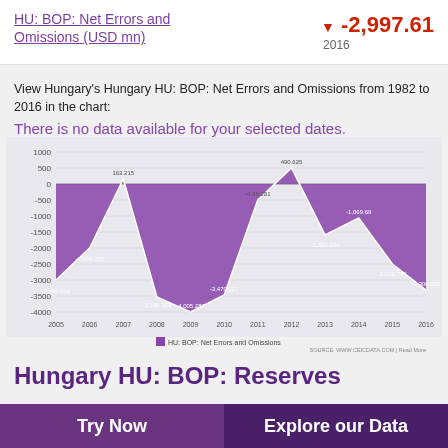HU: BOP: Net Errors and Omissions (USD mn)
▼ -2,997.61
2016
View Hungary's Hungary HU: BOP: Net Errors and Omissions from 1982 to 2016 in the chart:
There is no data available for your selected dates.
[Figure (area-chart): HU: BOP: Net Errors and Omissions]
Hungary HU: BOP: Reserves
Try Now
Explore our Data